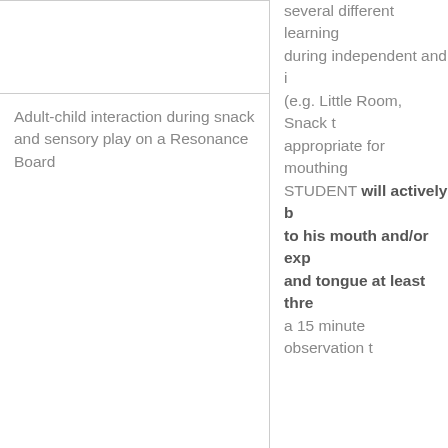Adult-child interaction during snack and sensory play on a Resonance Board
several different learning during independent and i (e.g. Little Room, Snack t appropriate for mouthing STUDENT will actively b to his mouth and/or exp and tongue at least thre a 15 minute observation t